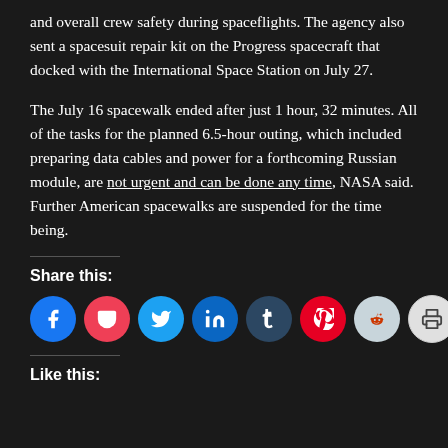and overall crew safety during spaceflights. The agency also sent a spacesuit repair kit on the Progress spacecraft that docked with the International Space Station on July 27.
The July 16 spacewalk ended after just 1 hour, 32 minutes. All of the tasks for the planned 6.5-hour outing, which included preparing data cables and power for a forthcoming Russian module, are not urgent and can be done any time, NASA said. Further American spacewalks are suspended for the time being.
Share this:
[Figure (infographic): Row of social sharing buttons: Facebook (blue circle), Pocket (red circle), Twitter (light blue circle), LinkedIn (dark blue circle), Tumblr (dark blue circle), Pinterest (red circle), Reddit (light grey circle), Print (light grey circle), More button (light grey rounded rectangle)]
Like this: